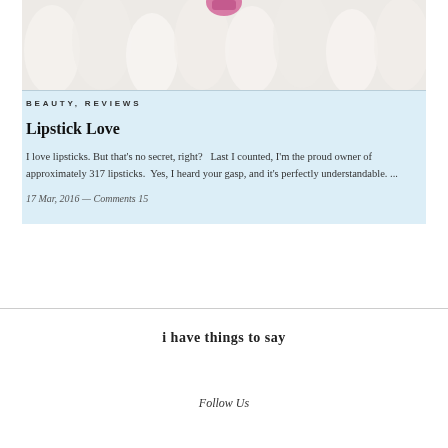[Figure (photo): Top portion of a photo showing white fluffy fur/feathers with a pink element visible at the top center]
BEAUTY, REVIEWS
Lipstick Love
I love lipsticks. But that's no secret, right?   Last I counted, I'm the proud owner of approximately 317 lipsticks.  Yes, I heard your gasp, and it's perfectly understandable. ...
17 Mar, 2016 — Comments 15
i have things to say
Follow Us